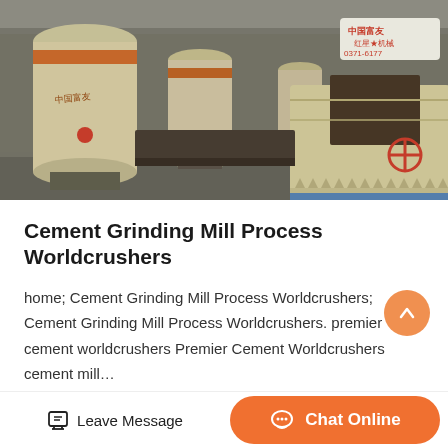[Figure (photo): Industrial factory floor showing large yellow/cream-colored cylindrical grinding mill machines arranged in a row. Chinese text and phone number (0371-6177...) visible on signage. Heavy industrial equipment with conveyor components visible.]
Cement Grinding Mill Process Worldcrushers
home; Cement Grinding Mill Process Worldcrushers; Cement Grinding Mill Process Worldcrushers. premier cement worldcrushers Premier Cement Worldcrushers cement mill…
Get Price >